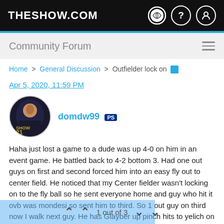THESHOW.COM
Community Forum
Home > General Discussion > Outfielder lock on
Apr 5, 2020, 11:59 PM
domdw99
Haha just lost a game to a dude was up 4-0 on him in an event game. He battled back to 4-2 bottom 3. Had one out guys on first and second forced him into an easy fly out to center field. He noticed that my Center fielder wasn't locking on to the fly ball so he sent everyone home and guy who hit it ovb was mondesi so sent him to third. So 1 out guy on third now I walk next guy. He has Glayber up pinch hits to yelich on the bench cause when u are
1 out of 3